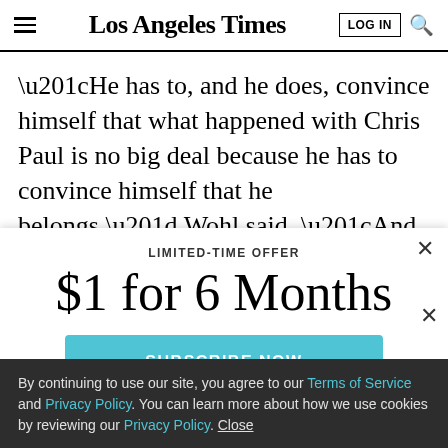Los Angeles Times
“He has to, and he does, convince himself that what happened with Chris Paul is no big deal because he has to convince himself that he belongs,” Wohl said. “And he does and he’s successful. And really deserves to be out there and is a huge weapon. But yeah, for me, it’s
LIMITED-TIME OFFER
$1 for 6 Months
SUBSCRIBE NOW
By continuing to use our site, you agree to our Terms of Service and Privacy Policy. You can learn more about how we use cookies by reviewing our Privacy Policy. Close